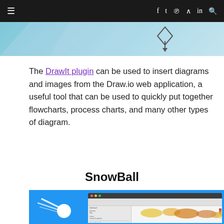≡   f  𝕥  𝑝  ⊃  in  🔍
[Figure (screenshot): Partial decorative header banner with light blue gradient background and a diamond/arrow shape icon.]
The DrawIt plugin can be used to insert diagrams and images from the Draw.io web application, a useful tool that can be used to quickly put together flowcharts, process charts, and many other types of diagram.
SnowBall
[Figure (screenshot): Screenshot showing the SnowBall application interface with a blue background featuring a comet/snowball logo on the left side, and a web application interface showing a data dashboard with a world heatmap on the right.]